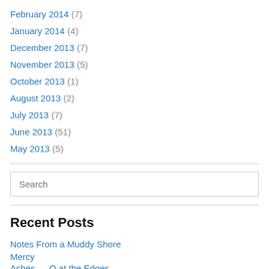February 2014 (7)
January 2014 (4)
December 2013 (7)
November 2013 (5)
October 2013 (1)
August 2013 (2)
July 2013 (7)
June 2013 (51)
May 2013 (5)
Search
Recent Posts
Notes From a Muddy Shore
Mercy
Ashes — O at the Edges